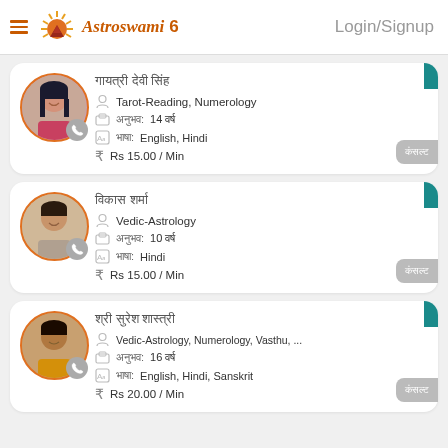Astroswami | Login/Signup
[Figure (infographic): Astrology app listing page with header showing Astroswami logo and Login/Signup link, followed by three astrologer profile cards each with photo, name in Hindi, specializations, experience, language, and price per minute.]
Tarot-Reading, Numerology | अनुभव: 14 वर्ष | भाषा: English, Hindi | Rs 15.00 / Min
Vedic-Astrology | अनुभव: 10 वर्ष | भाषा: Hindi | Rs 15.00 / Min
Vedic-Astrology, Numerology, Vasthu, ... | अनुभव: 16 वर्ष | भाषा: English, Hindi, Sanskrit